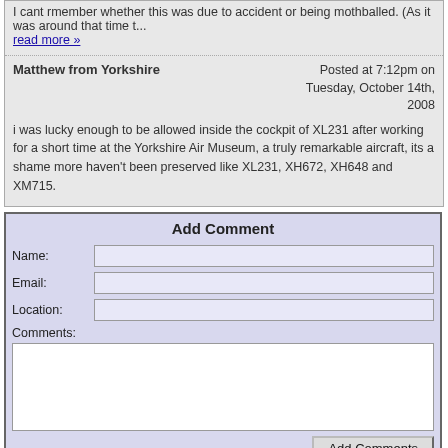I cant rmember whether this was due to accident or being mothballed. (As it was around that time t...
read more »
Matthew from Yorkshire
Posted at 7:12pm on Tuesday, October 14th, 2008
i was lucky enough to be allowed inside the cockpit of XL231 after working for a short time at the Yorkshire Air Museum, a truly remarkable aircraft, its a shame more haven't been preserved like XL231, XH672, XH648 and XM715.
Add Comment
Name:
Email:
Location:
Comments: